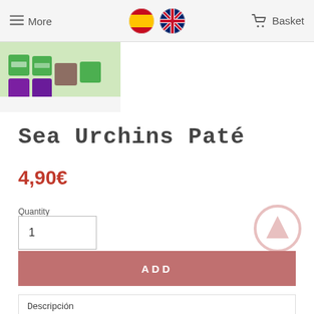More | [Spain flag] [UK flag] | Basket
[Figure (photo): Product image showing colorful food product boxes (green, purple) arranged together on a white surface]
Sea Urchins Paté
4,90€
Quantity
1
ADD
Descripción
The sea urchins used in this tasty gourmet paté are